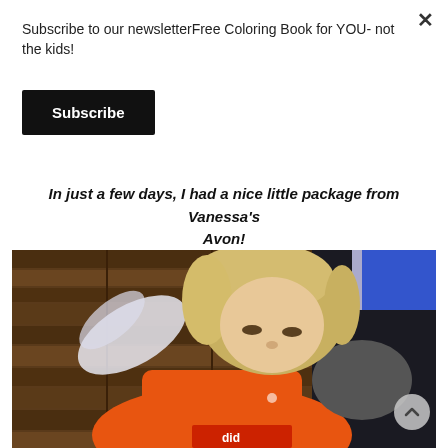Subscribe to our newsletterFree Coloring Book for YOU- not the kids!
Subscribe
In just a few days, I had a nice little package from Vanessa's Avon!
[Figure (photo): A young blonde child in an orange shirt looking down, with a wooden cabinet in the background]